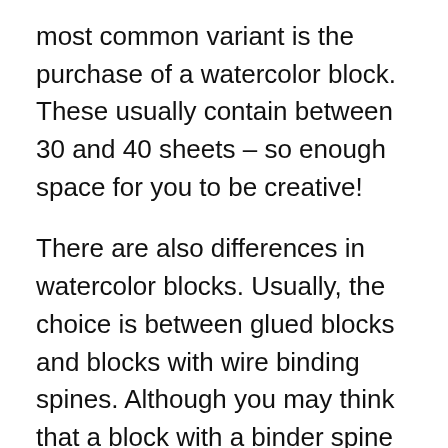most common variant is the purchase of a watercolor block. These usually contain between 30 and 40 sheets – so enough space for you to be creative!
There are also differences in watercolor blocks. Usually, the choice is between glued blocks and blocks with wire binding spines. Although you may think that a block with a binder spine is handier, we recommend a glued block (preferably 4-sided). The advantage here is that your painting can dry straight and without ripples.
Watercolor paper in sheets usually starts with a number of sheets of three. There are no upper